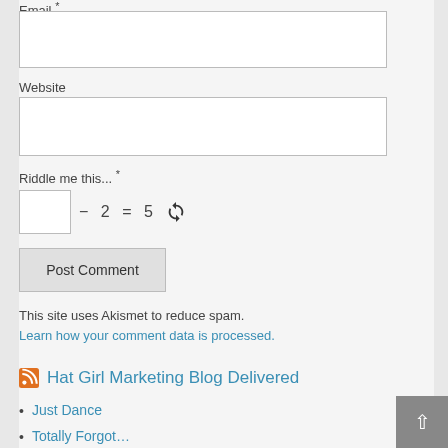Email *
Website
Riddle me this... *
− 2 = 5
Post Comment
This site uses Akismet to reduce spam.
Learn how your comment data is processed.
Hat Girl Marketing Blog Delivered
Just Dance
Totally Forgot…
Try Everything
Where Did That Go